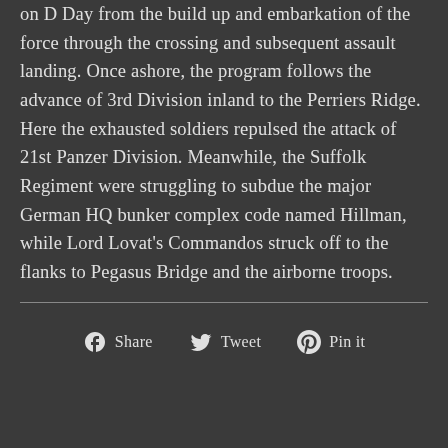on D Day from the build up and embarkation of the force through the crossing and subsequent assault landing. Once ashore, the program follows the advance of 3rd Division inland to the Perriers Ridge. Here the exhausted soldiers repulsed the attack of 21st Panzer Division. Meanwhile, the Suffolk Regiment were struggling to subdue the major German HQ bunker complex code named Hillman, while Lord Lovat's Commandos struck off to the flanks to Pegasus Bridge and the airborne troops.
Share   Tweet   Pin it